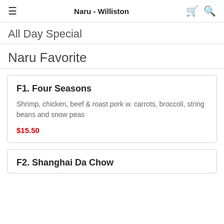Naru - Williston
All Day Special
Naru Favorite
F1. Four Seasons
Shrimp, chicken, beef & roast pork w. carrots, broccoli, string beans and snow peas
$15.50
F2. Shanghai Da Chow